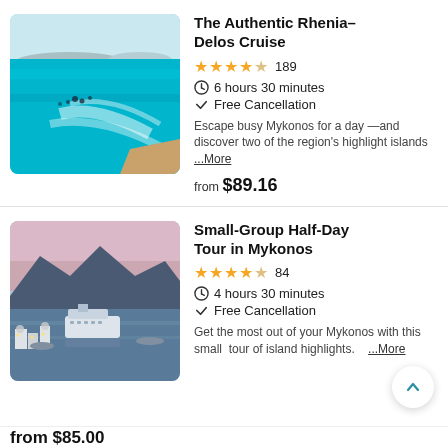[Figure (photo): Aerial view of turquoise blue sea water with people swimming, boat wake visible, and islands in the background - Rhenia-Delos Cruise]
The Authentic Rhenia-Delos Cruise
★★★★½  189
6 hours 30 minutes
Free Cancellation
Escape busy Mykonos for a day —and discover two of the region's highlight islands  ...More
from $89.16
[Figure (photo): Dusk/twilight view of Mykonos harbor with cruise ships, windmills lit up, and mountains in the background]
Small-Group Half-Day Tour in Mykonos
★★★★½  84
4 hours 30 minutes
Free Cancellation
Get the most out of your Mykonos with this small tour of island highlights.